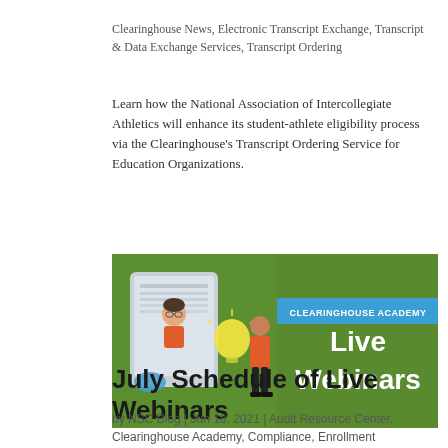Clearinghouse News, Electronic Transcript Exchange, Transcript & Data Exchange Services, Transcript Ordering
Learn how the National Association of Intercollegiate Athletics will enhance its student-athlete eligibility process via the Clearinghouse's Transcript Ordering Service for Education Organizations.
[Figure (illustration): Clearinghouse Academy Live Webinars promotional banner with green background, showing a person standing in front of a large tablet/screen displaying another person, with a light bulb graphic. Blue banner reads 'CLEARINGHOUSE ACADEMY' and large white text reads 'Live Webinars'.]
July Schedule of Live Webinars
by NSC Blog | Jun 18, 2021 | Audit Resource Center, Clearinghouse Academy, Compliance, Enrollment